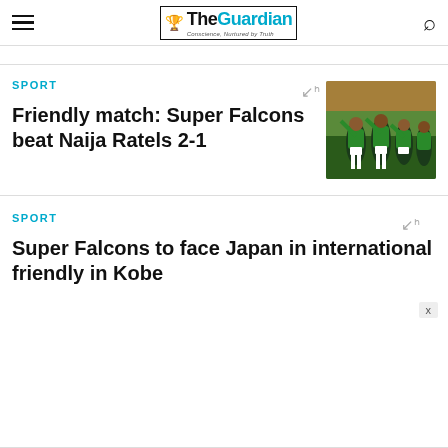The Guardian — Conscience, Nurtured by Truth
SPORT
Friendly match: Super Falcons beat Naija Ratels 2-1
[Figure (photo): Female football players in green and white Nigerian kit celebrating on a pitch]
SPORT
Super Falcons to face Japan in international friendly in Kobe